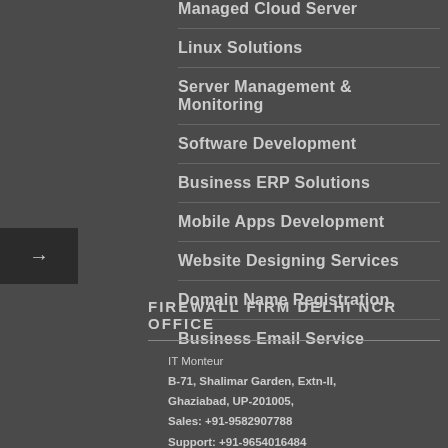Managed Cloud Server
Linux Solutions
Server Management & Monitoring
Software Development
Business ERP Solutions
Mobile Apps Development
Website Designing Services
Domain Name Registration
Business Email Service
FIREWALL FIRM DELHI NCR OFFICE
IT Monteur
B-71, Shalimar Garden, Extn-II,
Ghaziabad, UP-201005,
Sales: +91-9582907788
Support: +91-9654016484
Sales Email : sales@itmonteur.net
Support Email: support@itmonteur.net